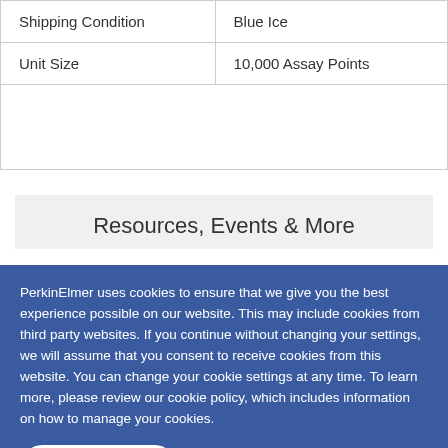| Shipping Condition | Blue Ice |
| Unit Size | 10,000 Assay Points |
Resources, Events & More
PerkinElmer uses cookies to ensure that we give you the best experience possible on our website. This may include cookies from third party websites. If you continue without changing your settings, we will assume that you consent to receive cookies from this website. You can change your cookie settings at any time. To learn more, please review our cookie policy, which includes information on how to manage your cookies.
CONTINUE